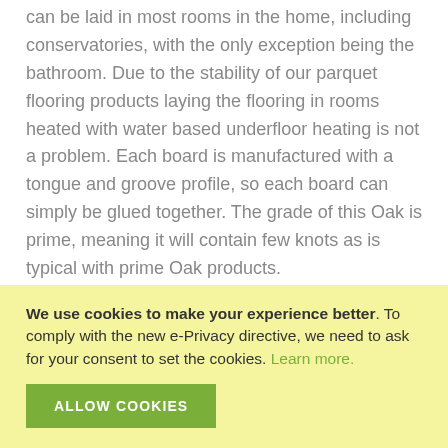can be laid in most rooms in the home, including conservatories, with the only exception being the bathroom. Due to the stability of our parquet flooring products laying the flooring in rooms heated with water based underfloor heating is not a problem. Each board is manufactured with a tongue and groove profile, so each board can simply be glued together. The grade of this Oak is prime, meaning it will contain few knots as is typical with prime Oak products.

An oiled finish is not impermeable and may not be suitable for spillages.
We use cookies to make your experience better. To comply with the new e-Privacy directive, we need to ask for your consent to set the cookies. Learn more.
ALLOW COOKIES